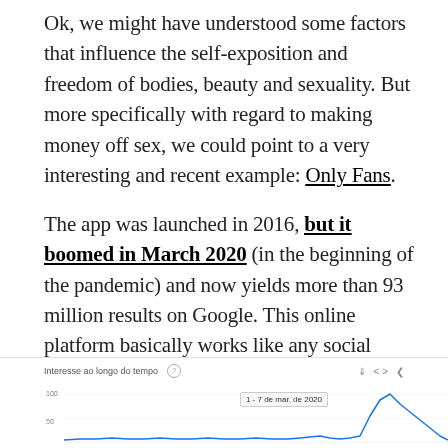Ok, we might have understood some factors that influence the self-exposition and freedom of bodies, beauty and sexuality. But more specifically with regard to making money off sex, we could point to a very interesting and recent example: Only Fans. The app was launched in 2016, but it boomed in March 2020 (in the beginning of the pandemic) and now yields more than 93 million results on Google. This online platform basically works like any social media platform, but the difference is that you must pay to access the posts. Every content creator has a page and gets money from the subscriptions.
[Figure (continuous-plot): Google Trends chart showing 'Interesse ao longo do tempo' (Interest over time) with a spike visible at the right side corresponding to 1-7 de mar. de 2020]